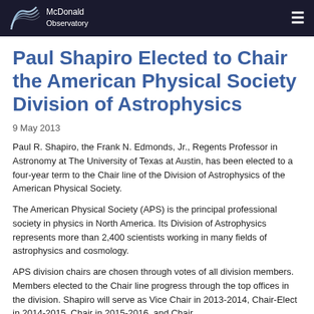McDonald Observatory
Paul Shapiro Elected to Chair the American Physical Society Division of Astrophysics
9 May 2013
Paul R. Shapiro, the Frank N. Edmonds, Jr., Regents Professor in Astronomy at The University of Texas at Austin, has been elected to a four-year term to the Chair line of the Division of Astrophysics of the American Physical Society.
The American Physical Society (APS) is the principal professional society in physics in North America. Its Division of Astrophysics represents more than 2,400 scientists working in many fields of astrophysics and cosmology.
APS division chairs are chosen through votes of all division members. Members elected to the Chair line progress through the top offices in the division. Shapiro will serve as Vice Chair in 2013-2014, Chair-Elect in 2014-2015, Chair in 2015-2016, and Chair